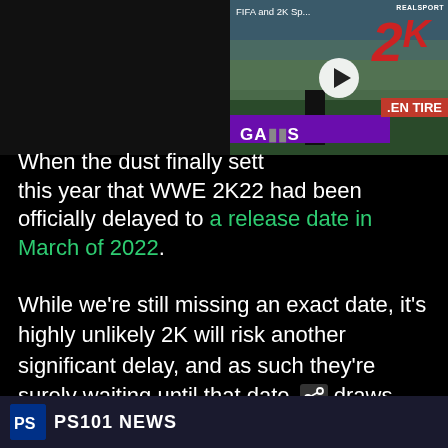[Figure (screenshot): Left half: dark/black rectangle image placeholder. Right half: video thumbnail showing 2K Sports logo with play button, 'FIFA and 2K Sp...' label, REALSPORT watermark, '.EN TIRE' red banner, 'GAMES' text overlay.]
When the dust finally settled, this year that WWE 2K22 had been officially delayed to a release date in March of 2022.
While we're still missing an exact date, it's highly unlikely 2K will risk another significant delay, and as such they're surely waiting until that date draws nearer before they impose an exact date in early or late March that they'll want to stick to.
[Figure (screenshot): Bottom strip showing PS101 NEWS logo/branding bar]